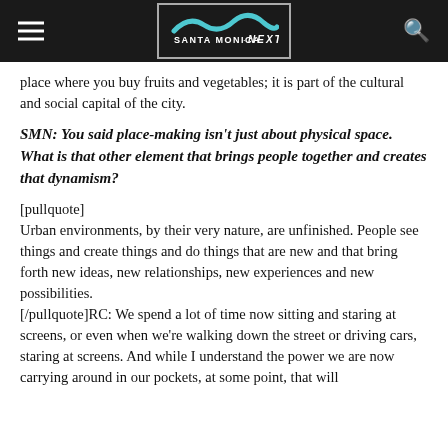Santa Monica Next
place where you buy fruits and vegetables; it is part of the cultural and social capital of the city.
SMN: You said place-making isn't just about physical space. What is that other element that brings people together and creates that dynamism?
[pullquote] Urban environments, by their very nature, are unfinished. People see things and create things and do things that are new and that bring forth new ideas, new relationships, new experiences and new possibilities. [/pullquote]RC: We spend a lot of time now sitting and staring at screens, or even when we're walking down the street or driving cars, staring at screens. And while I understand the power we are now carrying around in our pockets, at some point, that will